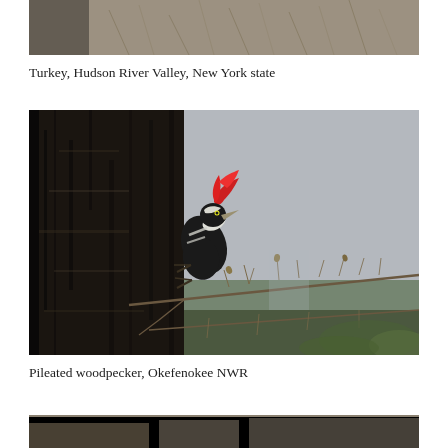[Figure (photo): Top portion of a photo showing a Turkey in Hudson River Valley, New York state — ground covered with dry grass/soil visible]
Turkey, Hudson River Valley, New York state
[Figure (photo): Pileated woodpecker clinging to dark bark of a large tree trunk, with bright red crest visible, surrounded by bare twigs and branches, blurred background with hints of green foliage, at Okefenokee NWR]
Pileated woodpecker, Okefenokee NWR
[Figure (photo): Bottom portion of another photo partially visible at the bottom of the page]